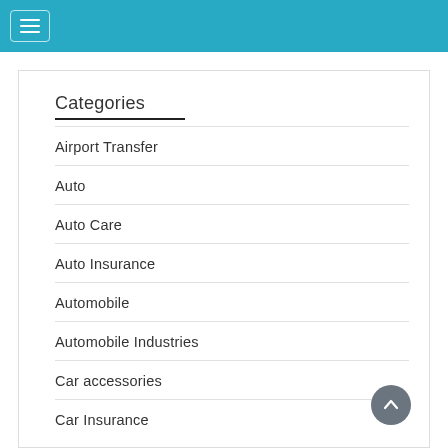Categories
Airport Transfer
Auto
Auto Care
Auto Insurance
Automobile
Automobile Industries
Car accessories
Car Insurance